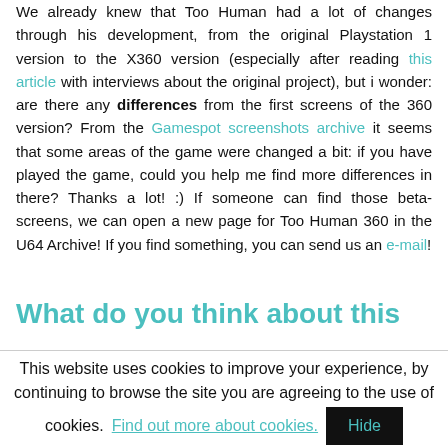We already knew that Too Human had a lot of changes through his development, from the original Playstation 1 version to the X360 version (especially after reading this article with interviews about the original project), but i wonder: are there any differences from the first screens of the 360 version? From the Gamespot screenshots archive it seems that some areas of the game were changed a bit: if you have played the game, could you help me find more differences in there? Thanks a lot! :) If someone can find those beta-screens, we can open a new page for Too Human 360 in the U64 Archive! If you find something, you can send us an e-mail!
What do you think about this
This website uses cookies to improve your experience, by continuing to browse the site you are agreeing to the use of cookies. Find out more about cookies.